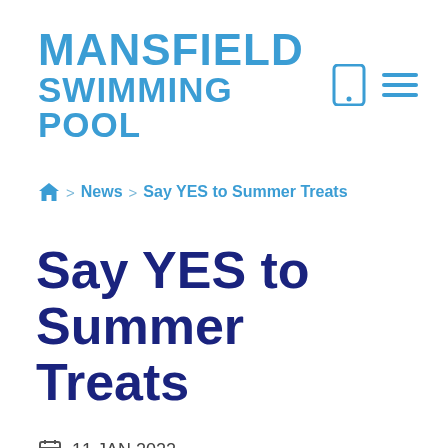MANSFIELD SWIMMING POOL
🏠 > News > Say YES to Summer Treats
Say YES to Summer Treats
11 JAN 2022